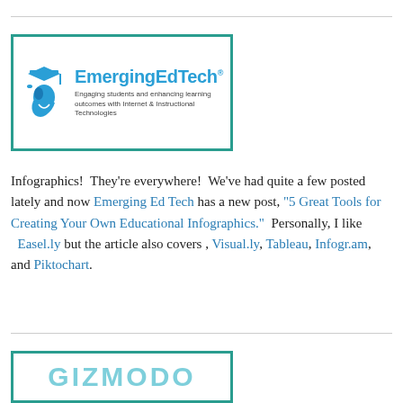[Figure (logo): EmergingEdTech logo with graduation cap icon, blue text reading EmergingEdTech with trademark symbol, subtitle: Engaging students and enhancing learning outcomes with Internet & Instructional Technologies]
Infographics!  They're everywhere!  We've had quite a few posted lately and now Emerging Ed Tech has a new post, "5 Great Tools for Creating Your Own Educational Infographics."  Personally, I like Easel.ly but the article also covers , Visual.ly, Tableau, Infogr.am,  and Piktochart.
[Figure (logo): Gizmodo logo, partial view showing teal/cyan colored large text GIZMODO]